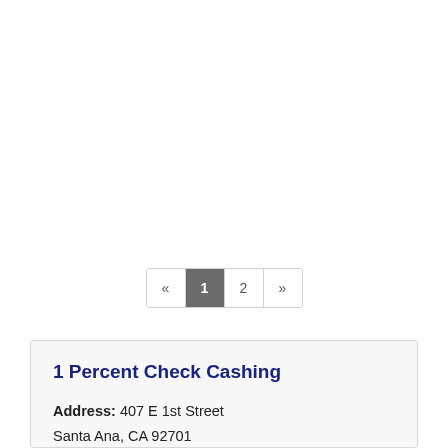« 1 2 »
1 Percent Check Cashing
Address: 407 E 1st Street Santa Ana, CA 92701